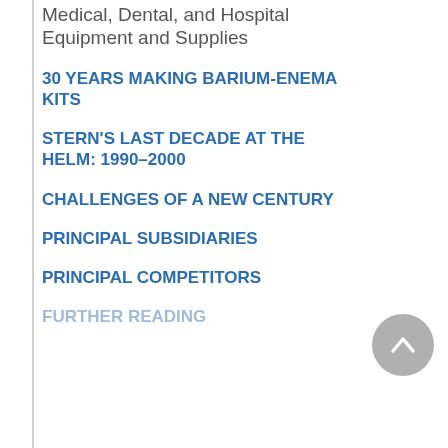Medical, Dental, and Hospital Equipment and Supplies
30 YEARS MAKING BARIUM-ENEMA KITS
STERN's LAST DECADE AT THE HELM: 1990–2000
CHALLENGES OF A NEW CENTURY
PRINCIPAL SUBSIDIARIES
PRINCIPAL COMPETITORS
FURTHER READING